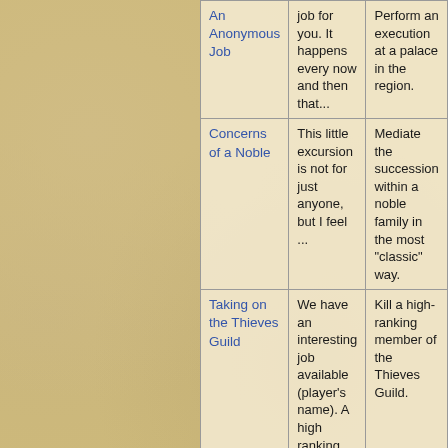| Quest Name | Description | Objective |
| --- | --- | --- |
| An Anonymous Job | job for you. It happens every now and then that... | Perform an execution at a palace in the region. |
| Concerns of a Noble | This little excursion is not for just anyone, but I feel ... | Mediate the succession within a noble family in the most "classic" way. |
| Taking on the Thieves Guild | We have an interesting job available (player's name). A high ranking member of the Thieves Guild. ... | Kill a high-ranking member of the Thieves Guild. |
| The Veteran... | This could be a tough one, even for you... | Execute a veteran of the... |